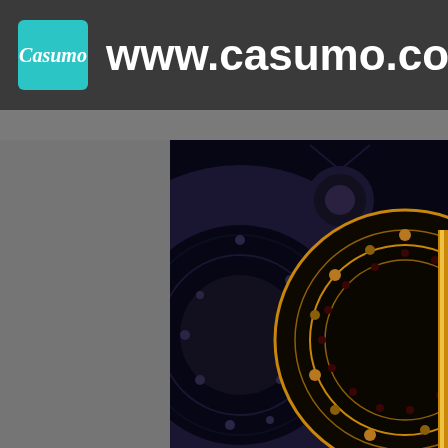Casumo www.casumo.com
[Figure (screenshot): Casumo casino website screenshot showing logo, URL www.casumo.com in header, and a dark decorative roulette wheel background image with gold and dark tones]